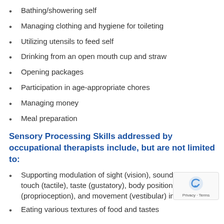Bathing/showering self
Managing clothing and hygiene for toileting
Utilizing utensils to feed self
Drinking from an open mouth cup and straw
Opening packages
Participation in age-appropriate chores
Managing money
Meal preparation
Sensory Processing Skills addressed by occupational therapists include, but are not limited to:
Supporting modulation of sight (vision), sound (auditory), touch (tactile), taste (gustatory), body position (proprioception), and movement (vestibular) input
Eating various textures of food and tastes